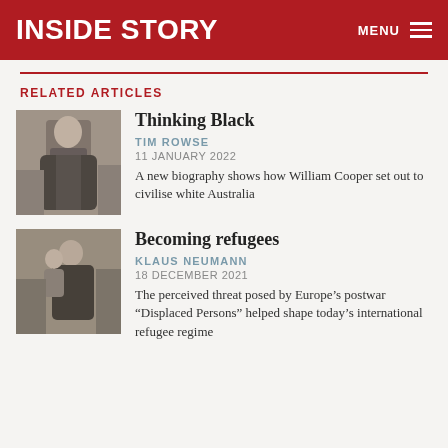INSIDE STORY
RELATED ARTICLES
Thinking Black
TIM ROWSE
11 JANUARY 2022
A new biography shows how William Cooper set out to civilise white Australia
Becoming refugees
KLAUS NEUMANN
18 DECEMBER 2021
The perceived threat posed by Europe’s postwar “Displaced Persons” helped shape today’s international refugee regime